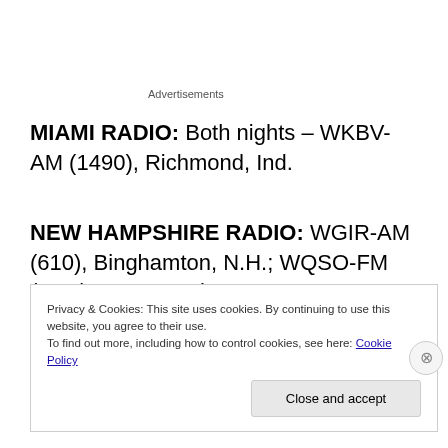Advertisements
MIAMI RADIO: Both nights – WKBV-AM (1490), Richmond, Ind.
NEW HAMPSHIRE RADIO: WGIR-AM (610), Binghamton, N.H.; WQSO-FM (96.7), Portsmouth, N.H.; WPKX-AM (930), Rochester, N.H.
Privacy & Cookies: This site uses cookies. By continuing to use this website, you agree to their use.
To find out more, including how to control cookies, see here: Cookie Policy